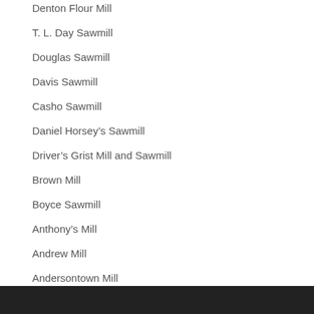Denton Flour Mill
T. L. Day Sawmill
Douglas Sawmill
Davis Sawmill
Casho Sawmill
Daniel Horsey’s Sawmill
Driver’s Grist Mill and Sawmill
Brown Mill
Boyce Sawmill
Anthony’s Mill
Andrew Mill
Andersontown Mill